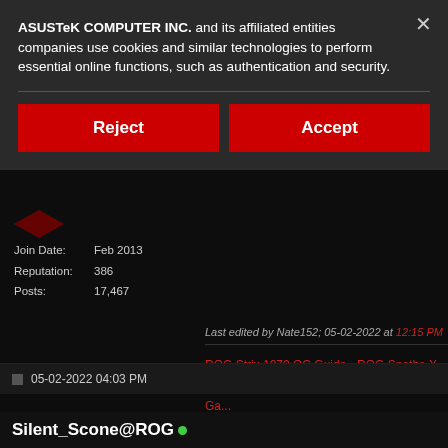ASUSTeK COMPUTER INC. and its affiliated entities companies use cookies and similar technologies to perform essential online functions, such as authentication and security.
Reject
Accept
Join Date: Feb 2013
Reputation: 386
Posts: 17,467
Last edited by Nate152; 05-02-2022 at 12:15 PM
ROG Strix 1070 OC Guide - ROG Spatha X Panel - z270 BCLK Overclocking - Xsplit Gamecaster OC Guide
05-02-2022 04:03 PM
Silent_Scone@ROG